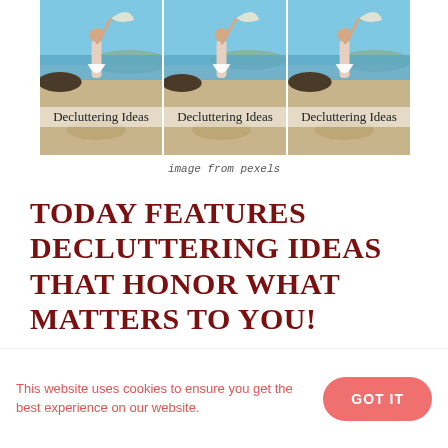[Figure (photo): Three-panel collage of a woman on a beach tossing fabric in the air, with the text 'Decluttering Ideas' overlaid on the images]
image from pexels
TODAY FEATURES DECLUTTERING IDEAS THAT HONOR WHAT MATTERS TO YOU!
This website uses cookies to ensure you get the best experience on our website.